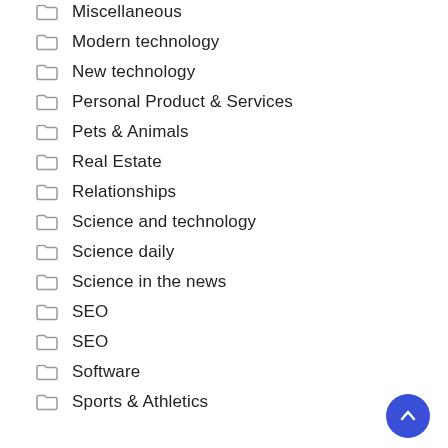Miscellaneous
Modern technology
New technology
Personal Product & Services
Pets & Animals
Real Estate
Relationships
Science and technology
Science daily
Science in the news
SEO
SEO
Software
Sports & Athletics